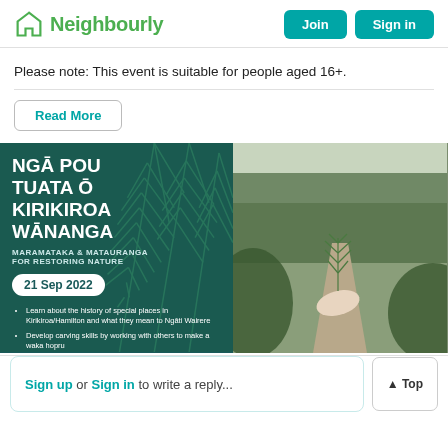Neighbourly — Join | Sign in
Please note: This event is suitable for people aged 16+.
Read More
[Figure (photo): Event promotional image split into two panels. Left panel: dark teal background with fern leaf and white bold text reading 'NGĀ POU TUATA Ō KIRIKIROA WĀNANGA', subtitle 'MARAMATAKA & MATAURANGA FOR RESTORING NATURE', date badge '21 Sep 2022', and bullet points about learning history of special places in Kirikiroa/Hamilton, developing carving skills by working with others to make a waka hopru. Right panel: nature photo of a hand holding a small fern frond on a forest path.]
Sign up or Sign in to write a reply...
▲ Top